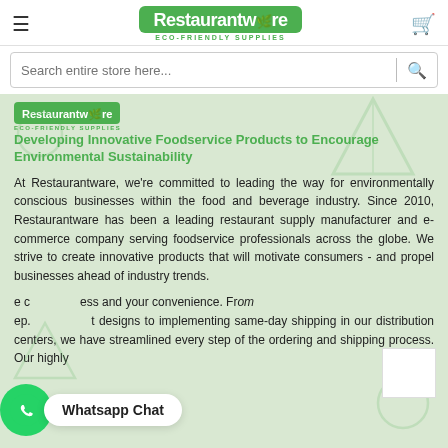Restaurantware ECO-FRIENDLY SUPPLIES
Search entire store here...
[Figure (logo): Restaurantware ECO-FRIENDLY SUPPLIES logo in green rounded rectangle]
Developing Innovative Foodservice Products to Encourage Environmental Sustainability
At Restaurantware, we're committed to leading the way for environmentally conscious businesses within the food and beverage industry. Since 2010, Restaurantware has been a leading restaurant supply manufacturer and e-commerce company serving foodservice professionals across the globe. We strive to create innovative products that will motivate consumers - and propel businesses ahead of industry trends.
e c ess and your convenience. From ep. t designs to implementing same-day shipping in our distribution centers, we have streamlined every step of the ordering and shipping process. Our highly
[Figure (other): Whatsapp Chat button overlay with WhatsApp circle icon and chat bubble saying Whatsapp Chat]